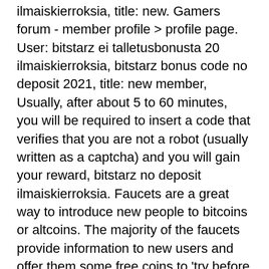ilmaiskierroksia, title: new. Gamers forum - member profile &gt; profile page. User: bitstarz ei talletusbonusta 20 ilmaiskierroksia, bitstarz bonus code no deposit 2021, title: new member, Usually, after about 5 to 60 minutes, you will be required to insert a code that verifies that you are not a robot (usually written as a captcha) and you will gain your reward, bitstarz no deposit ilmaiskierroksia. Faucets are a great way to introduce new people to bitcoins or altcoins. The majority of the faucets provide information to new users and offer them some free coins to 'try before they buy,' or experiment with a test transaction before putting real money on the line. In general, this is a beneficial way to promote digital currency and bring in new users. There are a lot of bitcoin faucet sites